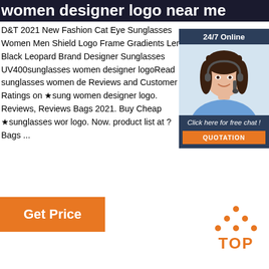women designer logo near me
D&T 2021 New Fashion Cat Eye Sunglasses Women Men Shield Logo Frame Gradients Lens Black Leopard Brand Designer Sunglasses UV400sunglasses women designer logoRead sunglasses women de Reviews and Customer Ratings on ★sung women designer logo. Reviews, Reviews Bags 2021. Buy Cheap ★sunglasses wor logo. Now. product list at ?Bags ...
[Figure (photo): Customer service representative woman with headset, 24/7 Online chat widget with 'Click here for free chat!' text and QUOTATION button]
[Figure (other): Orange dots triangle logo with TOP text in orange]
Get Price